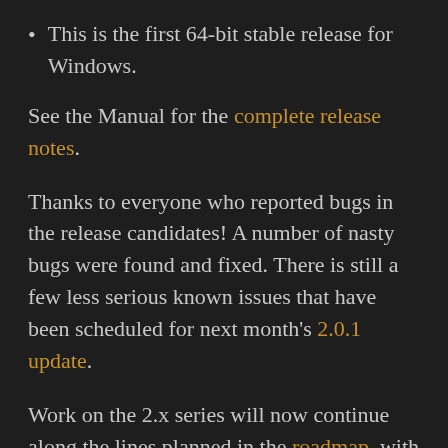This is the first 64-bit stable release for Windows.
See the Manual for the complete release notes.
Thanks to everyone who reported bugs in the release candidates! A number of nasty bugs were found and fixed. There is still a few less serious known issues that have been scheduled for next month’s 2.0.1 update.
Work on the 2.x series will now continue along the lines planned in the roadmap, with the first focus area being multiplayer improvements. Under the hood, there is still lots to do with